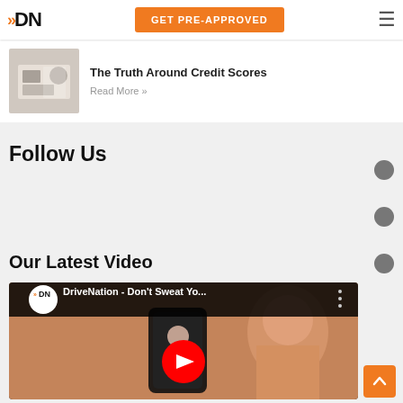DriveNation | GET PRE-APPROVED
[Figure (screenshot): Article thumbnail showing a person working at a desk with a calculator]
The Truth Around Credit Scores
Read More »
Follow Us
Our Latest Video
[Figure (screenshot): YouTube video thumbnail showing DriveNation - Don't Sweat Yo... with play button, DriveNation logo, and a man holding a phone with another person visible in background]